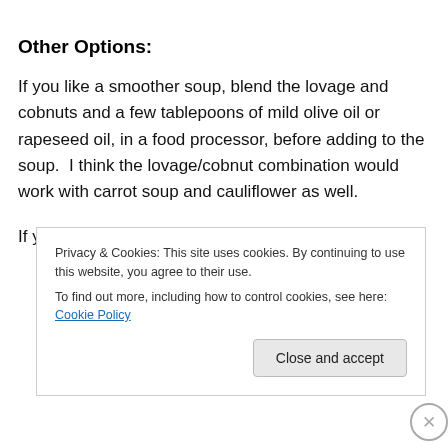Other Options:
If you like a smoother soup, blend the lovage and cobnuts and a few tablepoons of mild olive oil or rapeseed oil, in a food processor, before adding to the soup.  I think the lovage/cobnut combination would work with carrot soup and cauliflower as well.
If your just after the pumpkin soup add a generous
Privacy & Cookies: This site uses cookies. By continuing to use this website, you agree to their use.
To find out more, including how to control cookies, see here: Cookie Policy
Close and accept